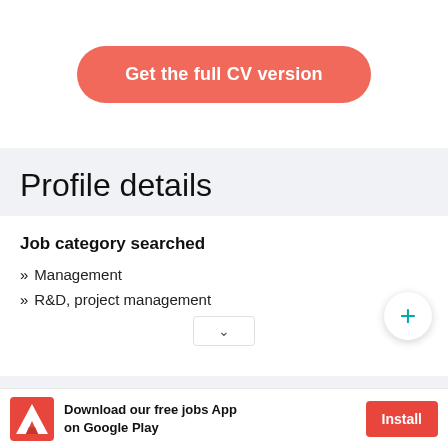[Figure (other): A rounded coral/red button labeled 'Get the full CV version']
Profile details
Job category searched
» Management
» R&D, project management
[Figure (other): App download advertisement banner with Adobe-style logo, text 'Download our free jobs App on Google Play', and an Install button]